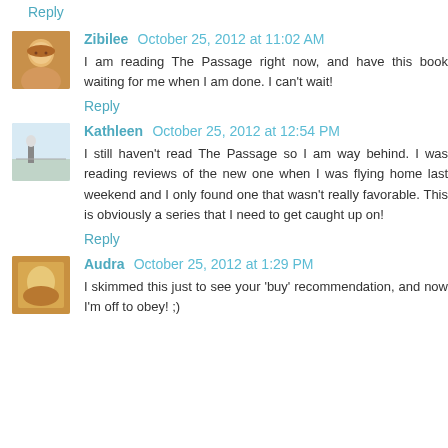Reply
Zibilee  October 25, 2012 at 11:02 AM
I am reading The Passage right now, and have this book waiting for me when I am done. I can't wait!
Reply
Kathleen  October 25, 2012 at 12:54 PM
I still haven't read The Passage so I am way behind. I was reading reviews of the new one when I was flying home last weekend and I only found one that wasn't really favorable. This is obviously a series that I need to get caught up on!
Reply
Audra  October 25, 2012 at 1:29 PM
I skimmed this just to see your 'buy' recommendation, and now I'm off to obey! ;)